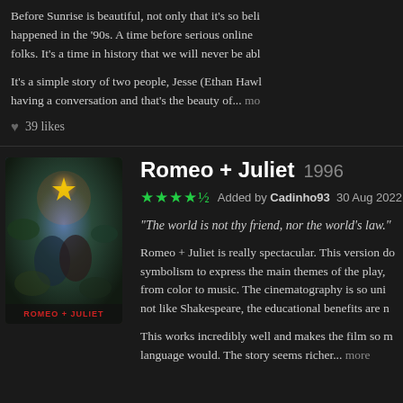Before Sunrise is beautiful, not only that it's so beli happened in the '90s. A time before serious online folks. It's a time in history that we will never be abl
It's a simple story of two people, Jesse (Ethan Hawl having a conversation and that's the beauty of... mo
39 likes
[Figure (photo): Movie poster for Romeo + Juliet (1996) showing two figures in an embrace with colorful background]
Romeo + Juliet 1996
★★★★½ Added by Cadinho93 30 Aug 2022
"The world is not thy friend, nor the world's law."
Romeo + Juliet is really spectacular. This version do symbolism to express the main themes of the play, from color to music. The cinematography is so uni not like Shakespeare, the educational benefits are n
This works incredibly well and makes the film so m language would. The story seems richer... more